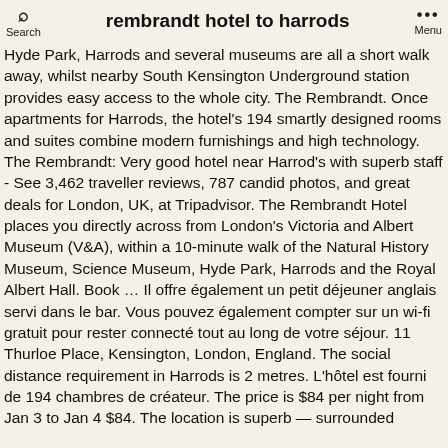Search | rembrandt hotel to harrods | Menu
Hyde Park, Harrods and several museums are all a short walk away, whilst nearby South Kensington Underground station provides easy access to the whole city. The Rembrandt. Once apartments for Harrods, the hotel's 194 smartly designed rooms and suites combine modern furnishings and high technology. The Rembrandt: Very good hotel near Harrod's with superb staff - See 3,462 traveller reviews, 787 candid photos, and great deals for London, UK, at Tripadvisor. The Rembrandt Hotel places you directly across from London's Victoria and Albert Museum (V&A), within a 10-minute walk of the Natural History Museum, Science Museum, Hyde Park, Harrods and the Royal Albert Hall. Book … Il offre également un petit déjeuner anglais servi dans le bar. Vous pouvez également compter sur un wi-fi gratuit pour rester connecté tout au long de votre séjour. 11 Thurloe Place, Kensington, London, England. The social distance requirement in Harrods is 2 metres. L'hôtel est fourni de 194 chambres de créateur. The price is $84 per night from Jan 3 to Jan 4 $84. The location is superb — surrounded